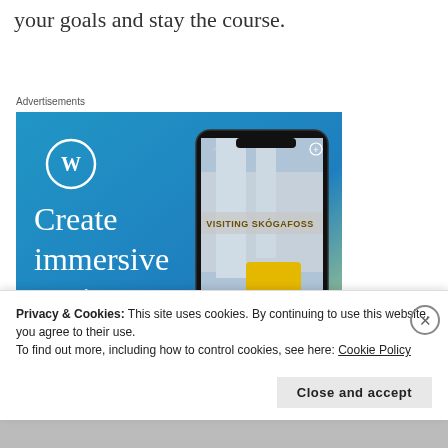your goals and stay the course.
Advertisements
[Figure (screenshot): WordPress advertisement showing a smartphone with a waterfall photo (Skogafoss) and the text 'Create immersive stories.' with WordPress logo and 'GET THE APP' at the bottom.]
Privacy & Cookies: This site uses cookies. By continuing to use this website, you agree to their use.
To find out more, including how to control cookies, see here: Cookie Policy
Close and accept